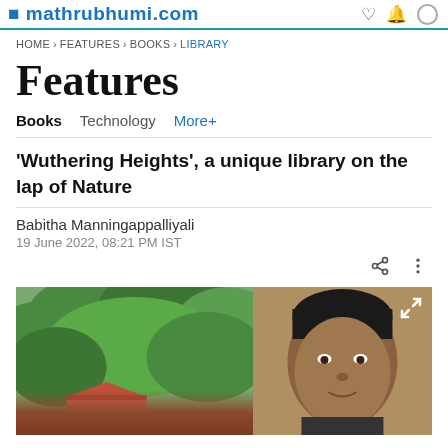mathrubhumi.com
HOME › FEATURES › BOOKS › LIBRARY
Features
Books   Technology   More+
'Wuthering Heights', a unique library on the lap of Nature
Babitha Manningappalliyali
19 June 2022, 08:21 PM IST
[Figure (photo): Left: A scenic hillside with dense green trees and a red-roofed house visible at bottom. Right: Close-up portrait of a man with dark hair.]